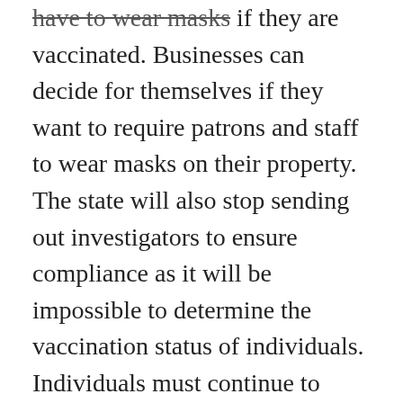have to wear masks if they are vaccinated. Businesses can decide for themselves if they want to require patrons and staff to wear masks on their property. The state will also stop sending out investigators to ensure compliance as it will be impossible to determine the vaccination status of individuals. Individuals must continue to wear masks in health care settings, on public transit, nursing homes, schools, and other places where large numbers of people may not be vaccinated. However, on June 2, all health orders in the state will be lifted. After June 2, the only places with state-mandated COVID restrictions will be nursing homes and assisted living facilities.